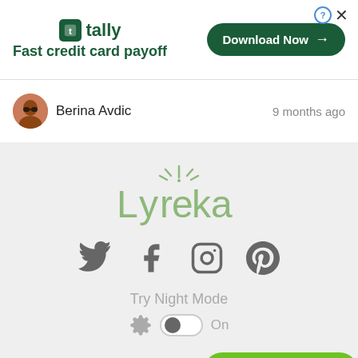[Figure (screenshot): Tally advertisement banner with logo, tagline 'Fast credit card payoff', and 'Download Now' button]
Berina Avdic
9 months ago
[Figure (logo): Lyreka logo with stylized text and exclamation spark graphic]
[Figure (infographic): Social media icons: Twitter, Facebook, Instagram, Pinterest]
Try Night Mode
On
Music
Post a Meaning